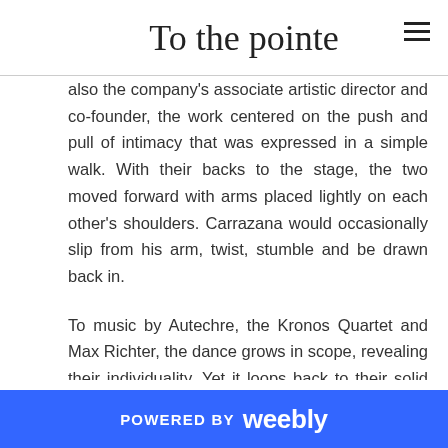To the pointe
also the company's associate artistic director and co-founder, the work centered on the push and pull of intimacy that was expressed in a simple walk. With their backs to the stage, the two moved forward with arms placed lightly on each other's shoulders. Carrazana would occasionally slip from his arm, twist, stumble and be drawn back in.
To music by Autechre, the Kronos Quartet and Max Richter, the dance grows in scope, revealing their individuality. Yet it loops back to their solid affection as they trace each other's bodies in rest. As they walked away, again their back to the stage as if they are the only two in the world, the lights went dark, leaving the audience touched by its calm and beauty.
POWERED BY weebly